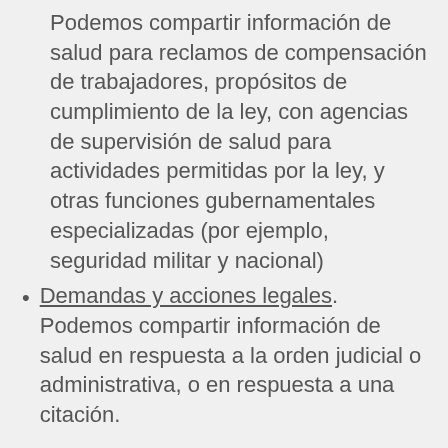Podemos compartir información de salud para reclamos de compensación de trabajadores, propósitos de cumplimiento de la ley, con agencias de supervisión de salud para actividades permitidas por la ley, y otras funciones gubernamentales especializadas (por ejemplo, seguridad militar y nacional)
Demandas y acciones legales. Podemos compartir información de salud en respuesta a la orden judicial o administrativa, o en respuesta a una citación.